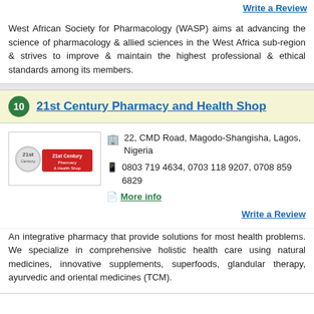Write a Review
West African Society for Pharmacology (WASP) aims at advancing the science of pharmacology & allied sciences in the West Africa sub-region & strives to improve & maintain the highest professional & ethical standards among its members.
10 21st Century Pharmacy and Health Shop
[Figure (logo): 21st Century Pharmacy & Health Shop logo — circular badge with '21' and red background text]
22, CMD Road, Magodo-Shangisha, Lagos, Nigeria
0803 719 4634, 0703 118 9207, 0708 859 6829
More info
Write a Review
An integrative pharmacy that provide solutions for most health problems. We specialize in comprehensive holistic health care using natural medicines, innovative supplements, superfoods, glandular therapy, ayurvedic and oriental medicines (TCM).